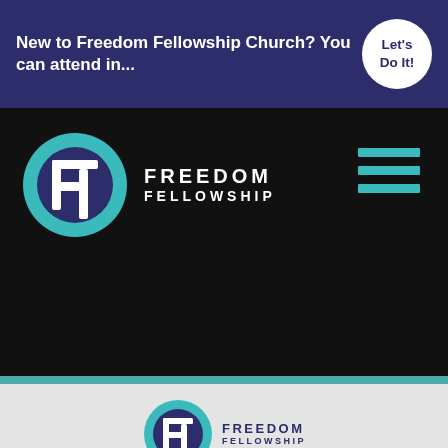New to Freedom Fellowship Church? You can attend in... Let's Do It!
[Figure (logo): Freedom Fellowship Church logo in navigation bar - teal circle with white F cross symbol, text FREEDOM FELLOWSHIP in white, hamburger menu icon in teal]
[Figure (logo): Freedom Fellowship Church logo in footer - teal circle with white F cross symbol, text FREEDOM FELLOWSHIP in dark blue]
Freedom Fellowship Church - 55 Hunsley Rd Canyon, Texas 79015 info@freedomcanyon.com - (806) 655-4581